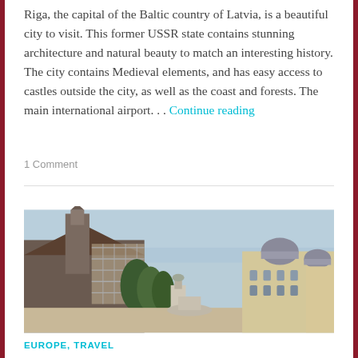Riga, the capital of the Baltic country of Latvia, is a beautiful city to visit. This former USSR state contains stunning architecture and natural beauty to match an interesting history. The city contains Medieval elements, and has easy access to castles outside the city, as well as the coast and forests. The main international airport. . . Continue reading
1 Comment
[Figure (photo): Outdoor photo of a historic European city square featuring a large Gothic church with a tall tower under scaffolding on the left, green trees, a monument/statue in the center, and ornate classical buildings with domed roofs on the right, under a light blue sky.]
EUROPE, TRAVEL